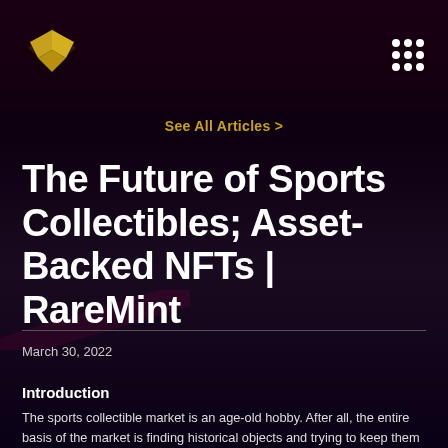RareMint logo and navigation grid icon
See All Articles >
The Future of Sports Collectibles; Asset-Backed NFTs | RareMint
March 30, 2022
Introduction
The sports collectible market is an age-old hobby. After all, the entire basis of the market is finding historical objects and trying to keep them as they were, while they become increasingly rare and rise in value. This traditional mindset has characterized the world of sports collectibles for decades,